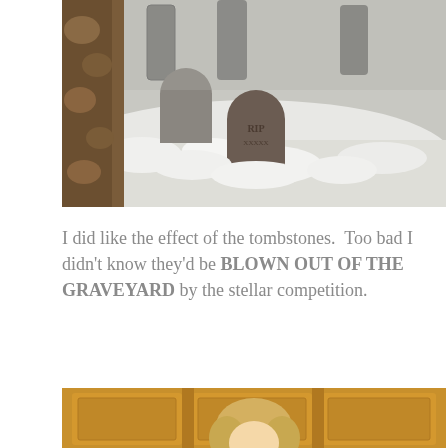[Figure (photo): A graveyard scene with gray tombstones set in white fluffy material (resembling snow or cotton), with brown textured walls on the left side. A central tombstone reads 'RIP'. Part of a gingerbread house competition display.]
I did like the effect of the tombstones.  Too bad I didn't know they'd be BLOWN OUT OF THE GRAVEYARD by the stellar competition.
[Figure (photo): A blonde woman smiling, standing in front of wooden kitchen cabinets.]